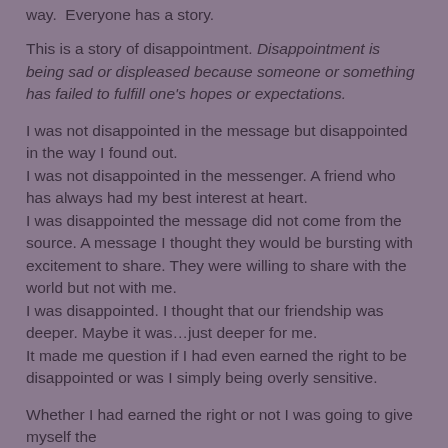way.  Everyone has a story.
This is a story of disappointment. Disappointment is being sad or displeased because someone or something has failed to fulfill one's hopes or expectations.
I was not disappointed in the message but disappointed in the way I found out.
I was not disappointed in the messenger. A friend who has always had my best interest at heart.
I was disappointed the message did not come from the source. A message I thought they would be bursting with excitement to share. They were willing to share with the world but not with me.
I was disappointed. I thought that our friendship was deeper. Maybe it was…just deeper for me.
It made me question if I had even earned the right to be disappointed or was I simply being overly sensitive.
Whether I had earned the right or not I was going to give myself the